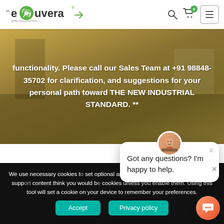[Figure (logo): Ecolivera brand logo with green leaf icon and tagline]
[Figure (screenshot): Website hero banner with dark gold/olive overlay showing text about sales team contact and industrial standard message]
functionality. Please call our Sales Team at +91 98848-35702 for clarification, and suggestions for your personal path toward THE NEW INDUSTRIAL STANDARD. **
We use necessary cookies to set optional analytics cookies services like live chat support content think you would b cookies unless you enable them. Using this tool will set a cookie on your device to remember your preferences.
[Figure (screenshot): Chat popup with avatar saying: Got any questions? I'm happy to help.]
Got any questions? I'm happy to help.
[Figure (other): Chat bubble button (orange gradient circle)]